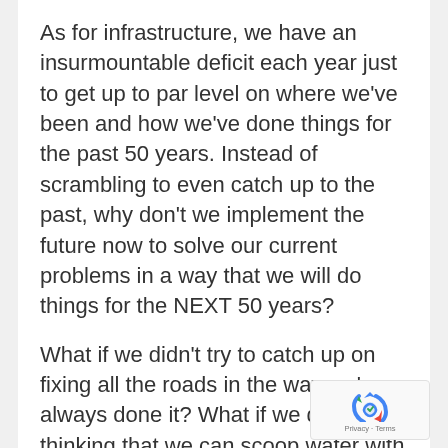As for infrastructure, we have an insurmountable deficit each year just to get up to par level on where we've been and how we've done things for the past 50 years. Instead of scrambling to even catch up to the past, why don't we implement the future now to solve our current problems in a way that we will do things for the NEXT 50 years?
What if we didn't try to catch up on fixing all the roads in the way we've always done it? What if we quit thinking that we can scoop water with our buckets so fast that we can eventually get down to wood and then plug the holes of this